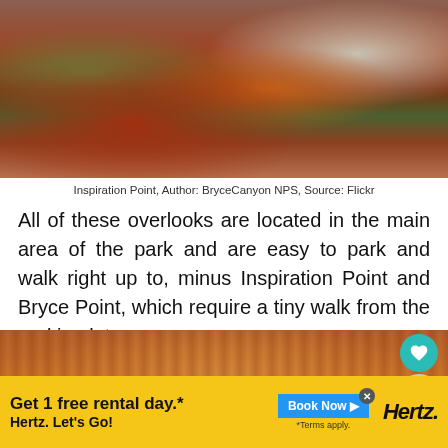[Figure (photo): Aerial view of Bryce Canyon hoodoos and canyon from Inspiration Point, with orange-red rock formations and green trees below, cliff face visible on right side]
Inspiration Point, Author: BryceCanyon NPS, Source: Flickr
All of these overlooks are located in the main area of the park and are easy to park and walk right up to, minus Inspiration Point and Bryce Point, which require a tiny walk from the parking lot.
[Figure (photo): Close-up panoramic view of Bryce Canyon hoodoos, orange and red rock formations densely packed together]
[Figure (other): Advertisement banner: Get 1 free rental day. Hertz. Let's Go! Book Now button. Terms apply.]